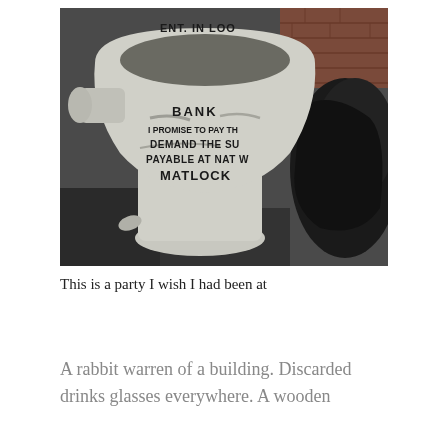[Figure (photo): A discarded, dirty white ceramic toilet/lavatory pan placed outdoors near a brick wall and black plastic bag. The toilet has text printed on it reading: 'ENT. IN LOO', 'BANK', 'I PROMISE TO PAY THE', 'DEMAND THE SUM', 'PAYABLE AT NAT W', 'MATLOCK'. The toilet appears to be a novelty or promotional item resembling a bank note on a toilet bowl.]
This is a party I wish I had been at
A rabbit warren of a building. Discarded drinks glasses everywhere. A wooden